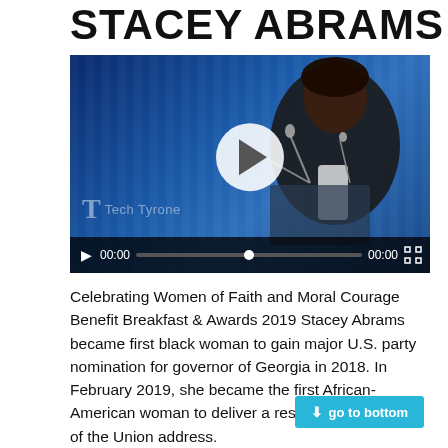STACEY ABRAMS
[Figure (screenshot): Video screenshot of Stacey Abrams speaking at a podium with blue background, showing video player controls including play button, 00:00 timestamps, progress bar, and fullscreen button. Tech Tyrone watermark visible.]
Celebrating Women of Faith and Moral Courage Benefit Breakfast & Awards 2019 Stacey Abrams became first black woman to gain major U.S. party nomination for governor of Georgia in 2018. In February 2019, she became the first African-American woman to deliver a response to the State of the Union address.
go to bottom